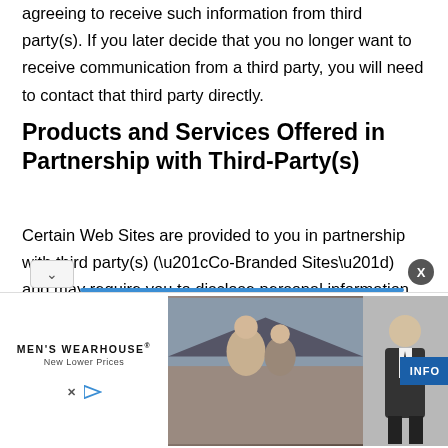agreeing to receive such information from third party(s). If you later decide that you no longer want to receive communication from a third party, you will need to contact that third party directly.
Products and Services Offered in Partnership with Third-Party(s)
Certain Web Sites are provided to you in partnership with third party(s) (“Co-Branded Sites”) and may require you to disclose personal information in order to register for and access products and/or services. Such Co-Branded Sites will identify the third party partner(s). If you elect to register fo
[Figure (photo): Men's Wearhouse advertisement banner showing a couple in formal wear and a man in a suit, with INFO button and Men's Wearhouse logo with 'New Lower Prices' tagline.]